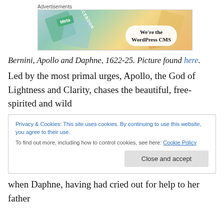[Figure (other): Advertisement banner showing social media icons (Meta, Facebook) and the text 'We're the WordPress CMS' with label 'Advertisements' above]
Bernini, Apollo and Daphne, 1622-25. Picture found here.
Led by the most primal urges, Apollo, the God of Lightness and Clarity, chases the beautiful, free-spirited and wild
Privacy & Cookies: This site uses cookies. By continuing to use this website, you agree to their use.
To find out more, including how to control cookies, see here: Cookie Policy
when Daphne, having had cried out for help to her father